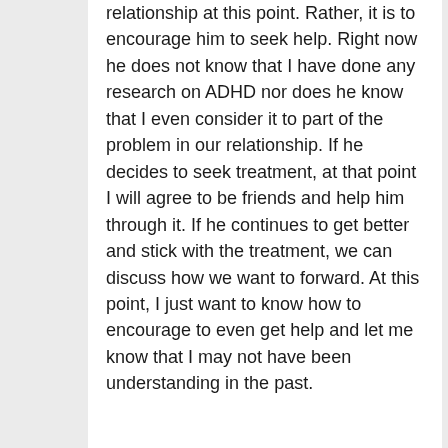relationship at this point. Rather, it is to encourage him to seek help. Right now he does not know that I have done any research on ADHD nor does he know that I even consider it to part of the problem in our relationship. If he decides to seek treatment, at that point I will agree to be friends and help him through it. If he continues to get better and stick with the treatment, we can discuss how we want to forward. At this point, I just want to know how to encourage to even get help and let me know that I may not have been understanding in the past.
log in or register to post comments
Has he read any books on